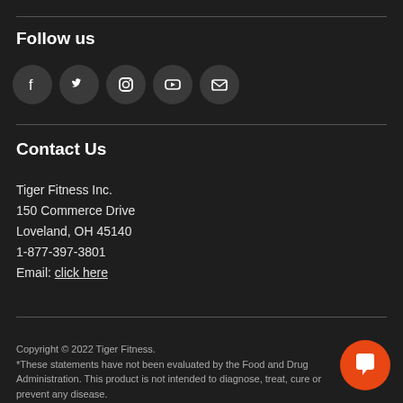Follow us
[Figure (illustration): Row of five social media icon circles: Facebook, Twitter, Instagram, YouTube, Email]
Contact Us
Tiger Fitness Inc.
150 Commerce Drive
Loveland, OH 45140
1-877-397-3801
Email: click here
Copyright © 2022 Tiger Fitness.
*These statements have not been evaluated by the Food and Drug Administration. This product is not intended to diagnose, treat, cure or prevent any disease.